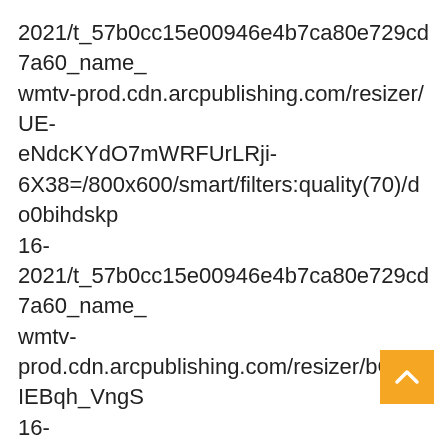2021/t_57b0cc15e00946e4b7ca80e729cd7a60_name_ wmtv-prod.cdn.arcpublishing.com/resizer/UE-eNdcKYdO7mWRFUrLRji-6X38=/800x600/smart/filters:quality(70)/do0bihdskp 16-2021/t_57b0cc15e00946e4b7ca80e729cd7a60_name_ wmtv-prod.cdn.arcpublishing.com/resizer/bOmUIEBqh_Vng 16-2021/t_57b0cc15e00946e4b7ca80e729cd7a60_name_ wmtv-prod.cdn.arcpublishing.com/resizer/hsnx7S7aythoPvC 16-2021/t_57b0cc15e00946e4b7ca80e729cd7a60_name_ 2d93-4255-8d70-8d2776afb4c3","website":"wmtv","website_ur os: community-food-pantry-offers-food-
[Figure (other): Orange back-to-top button with upward chevron arrow]